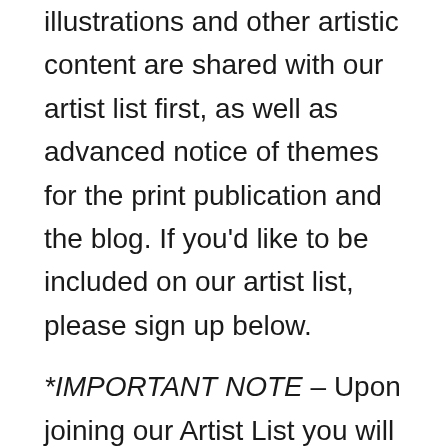illustrations and other artistic content are shared with our artist list first, as well as advanced notice of themes for the print publication and the blog. If you'd like to be included on our artist list, please sign up below.
*IMPORTANT NOTE – Upon joining our Artist List you will immediately be sent our Welcome Email. If you do not receive this email within a minute or two of submitting the form – please